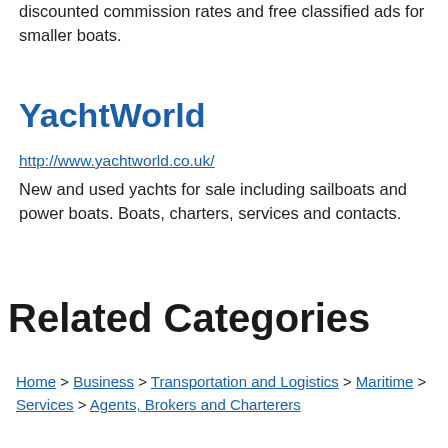discounted commission rates and free classified ads for smaller boats.
YachtWorld
http://www.yachtworld.co.uk/
New and used yachts for sale including sailboats and power boats. Boats, charters, services and contacts.
Related Categories
Home > Business > Transportation and Logistics > Maritime > Services > Agents, Brokers and Charterers